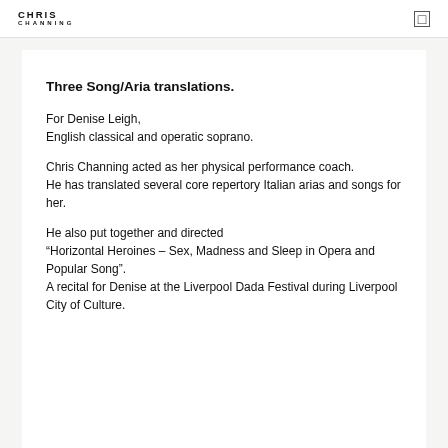CHRIS CHANNING
Three Song/Aria translations.
For Denise Leigh,
English classical and operatic soprano.
Chris Channing acted as her physical performance coach.
He has translated several core repertory Italian arias and songs for her.
He also put together and directed
“Horizontal Heroines – Sex, Madness and Sleep in Opera and Popular Song”.
A recital for Denise at the Liverpool Dada Festival during Liverpool City of Culture.